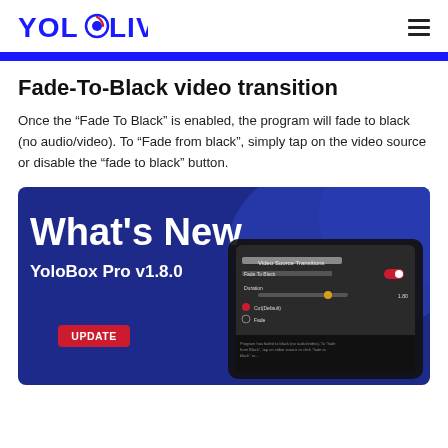YOLOLIV
Fade-To-Black video transition
Once the “Fade To Black” is enabled, the program will fade to black (no audio/video). To “Fade from black”, simply tap on the video source or disable the “fade to black” button.
[Figure (screenshot): Promotional image for YoloBox Pro v1.8.0 update. Blue background with 'What's New' in large white text, 'YoloBox Pro v1.8.0' subtitle, a red UPDATE badge, and a tablet device screenshot showing Video Source Transitions settings with Fade To Black toggle.]